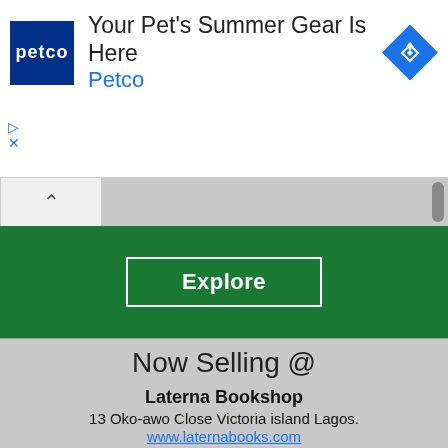[Figure (screenshot): Petco advertisement banner with logo, headline 'Your Pet's Summer Gear Is Here', brand name 'Petco', and a blue diamond navigation arrow icon]
[Figure (screenshot): UI bar with collapse chevron button and gray scroll track]
[Figure (screenshot): Dark green bar with 'Explore' button outlined in white]
Now Selling @
Laterna Bookshop
13 Oko-awo Close Victoria island Lagos.
www.laternabooks.com
Terra Kulture Gallery
Plot 1376, Tiamiyu Savage Street, Victoria island Lagos.
www.terrakulture.com
Bible Wonderland Bookshop
7, Western Av. Beside Union Bank Ojuelegba, Lagos.
Anderson Bookshop